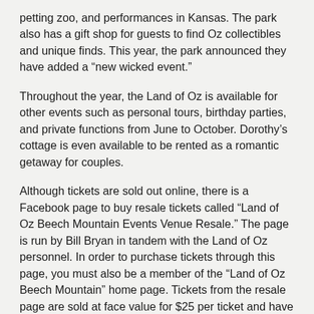petting zoo, and performances in Kansas. The park also has a gift shop for guests to find Oz collectibles and unique finds. This year, the park announced they have added a “new wicked event.”
Throughout the year, the Land of Oz is available for other events such as personal tours, birthday parties, and private functions from June to October. Dorothy’s cottage is even available to be rented as a romantic getaway for couples.
Although tickets are sold out online, there is a Facebook page to buy resale tickets called “Land of Oz Beech Mountain Events Venue Resale.” The page is run by Bill Bryan in tandem with the Land of Oz personnel. In order to purchase tickets through this page, you must also be a member of the “Land of Oz Beech Mountain” home page. Tickets from the resale page are sold at face value for $25 per ticket and have an additional $1 assistance fee. This page offers resale tickets for every open date in June.